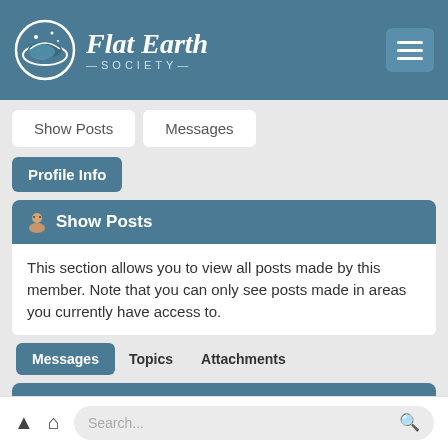Flat Earth Society
Show Posts
Messages
Profile Info
Show Posts
This section allows you to view all posts made by this member. Note that you can only see posts made in areas you currently have access to.
Messages  Topics  Attachments
Messages - Tom Bishop
Pages: [1] 2 3 ... 463  Next >